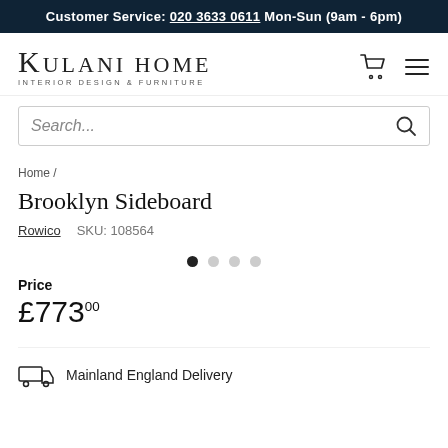Customer Service: 020 3633 0611 Mon-Sun (9am - 6pm)
[Figure (logo): Kulani Home logo — Interior Design & Furniture]
Search...
Home /
Brooklyn Sideboard
Rowico   SKU: 108564
[Figure (other): Carousel dot indicators: 4 dots, first filled/active]
Price
£773.00
Mainland England Delivery